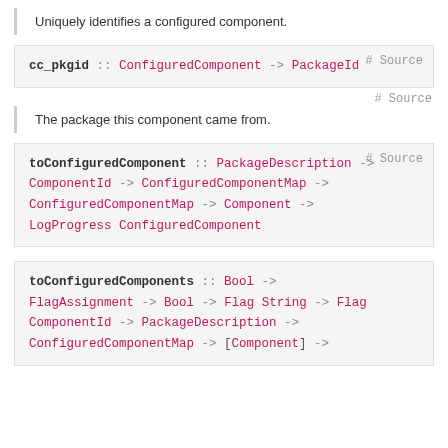Uniquely identifies a configured component.
# Source
cc_pkgid :: ConfiguredComponent -> PackageId
# Source
The package this component came from.
toConfiguredComponent :: PackageDescription -> ComponentId -> ConfiguredComponentMap -> ConfiguredComponentMap -> Component -> LogProgress ConfiguredComponent
# Source
toConfiguredComponents :: Bool -> FlagAssignment -> Bool -> Flag String -> Flag ComponentId -> PackageDescription -> ConfiguredComponentMap -> [Component] ->
# Source